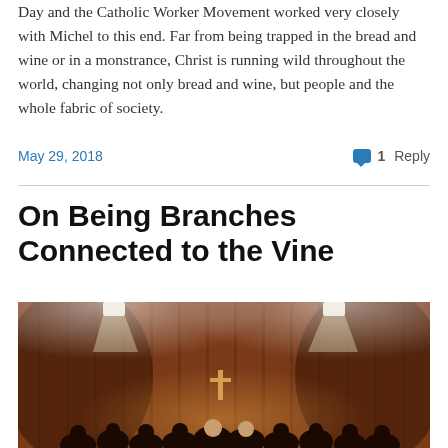Day and the Catholic Worker Movement worked very closely with Michel to this end. Far from being trapped in the bread and wine or in a monstrance, Christ is running wild throughout the world, changing not only bread and wine, but people and the whole fabric of society.
May 29, 2018
1 Reply
On Being Branches Connected to the Vine
[Figure (photo): A dark photograph of a church interior with warm wooden walls, overhead spotlights, a cross visible at the front, and congregation members visible in silhouette.]